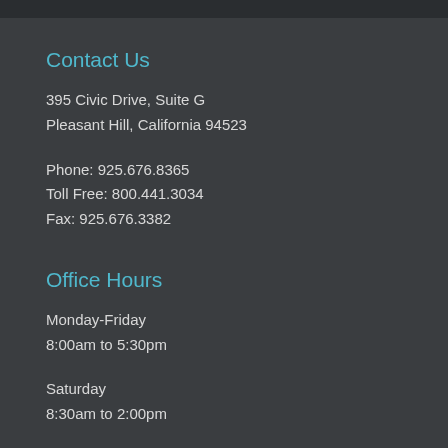Contact Us
395 Civic Drive, Suite G
Pleasant Hill, California 94523
Phone: 925.676.8365
Toll Free: 800.441.3034
Fax: 925.676.3382
Office Hours
Monday-Friday
8:00am to 5:30pm
Saturday
8:30am to 2:00pm
Sunday
Closed